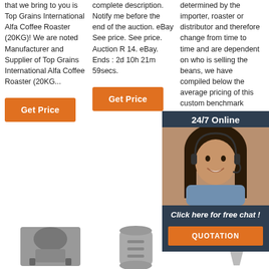that we bring to you is Top Grains International Alfa Coffee Roaster (20KG)! We are noted Manufacturer and Supplier of Top Grains International Alfa Coffee Roaster (20KG...
complete description. Notify me before the end of the auction. eBay See price. See price. Auction R 14. eBay. Ends : 2d 10h 21m 59secs.
determined by the importer, roaster or distributor and therefore change from time to time and are dependent on who is selling the beans, we have compiled below the average pricing of this custom benchmark
[Figure (photo): Customer service representative with headset smiling, overlaid with a dark blue chat widget panel showing '24/7 Online', 'Click here for free chat!', and an orange QUOTATION button]
[Figure (logo): TOP logo with orange dot art above the word TOP in orange letters]
[Figure (photo): Three product images at the bottom showing coffee roaster equipment]
Get Price (button col1)
Get Price (button col2)
Get Price (button col3)